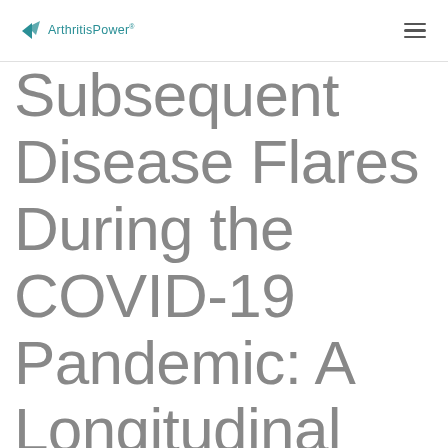ArthritisPower
Subsequent Disease Flares During the COVID-19 Pandemic: A Longitudinal Online Study of Patients With Rheumatic...